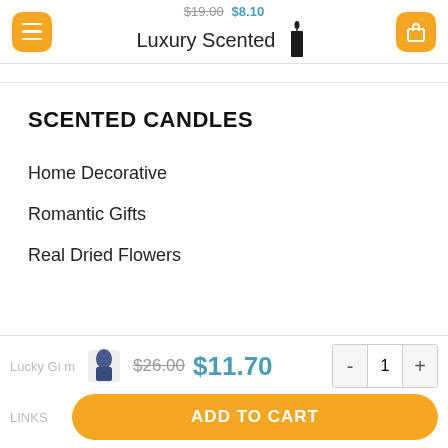Luxury Scented — $19.00  $8.10
SCENTED CANDLES
Home Decorative
Romantic Gifts
Real Dried Flowers
Lucky Gi m   $26.00  $11.70   - 1 +   LINKS   ADD TO CART